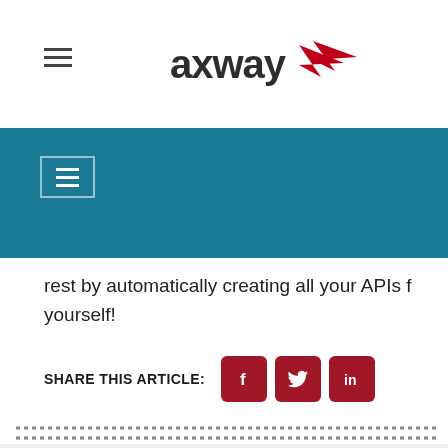[Figure (logo): Axway logo with red arrow icon and hamburger menu icon at top]
[Figure (screenshot): Teal navigation bar with hamburger menu button]
rest by automatically creating all your APIs for yourself!
SHARE THIS ARTICLE:
[Figure (infographic): Social share buttons: Facebook, Twitter, LinkedIn in dark red rounded squares]
Tags